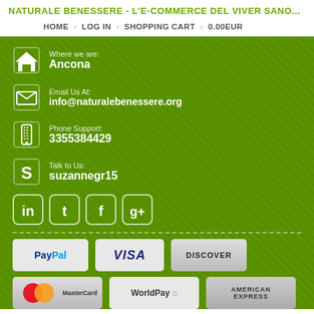NATURALE BENESSERE - L'E-COMMERCE DEL VIVER SANO...
HOME > LOG IN > SHOPPING CART > 0.00EUR
Where we are: Ancona
Email Us At: info@naturalebenessere.org
Phone Support: 3355384429
Talk to Us: suzannegr15
[Figure (infographic): Social media icons: LinkedIn, Tumblr, Facebook, Google+]
[Figure (infographic): Payment method logos: PayPal, VISA, DISCOVER, MasterCard, WorldPay, American Express]